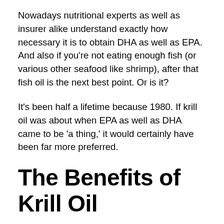Nowadays nutritional experts as well as insurer alike understand exactly how necessary it is to obtain DHA as well as EPA. And also if you're not eating enough fish (or various other seafood like shrimp), after that fish oil is the next best point. Or is it?
It's been half a lifetime because 1980. If krill oil was about when EPA as well as DHA came to be 'a thing,' it would certainly have been far more preferred.
The Benefits of Krill Oil
Considering that the primary advantage of